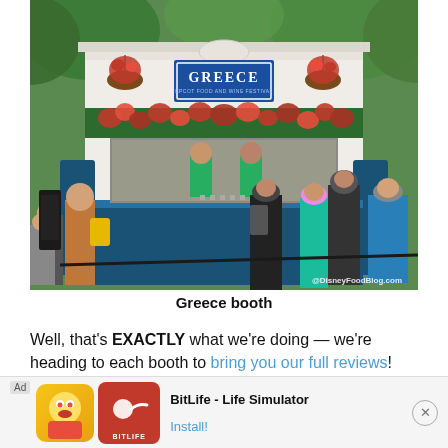[Figure (photo): Photo of the Greece booth at EPCOT Food and Wine Festival. A white building with blue accents and a blue sign reading 'GREECE EPCOT FOOD AND WINE FESTIVAL'. Pink/red flowers adorn the top of the booth. Several visitors are queued at the counter. Watermark reads @DisneyFoodBlog.com]
Greece booth
Well, that’s EXACTLY what we’re doing — we’re heading to each booth to bring you our full reviews! And now we’re traveling to Greece by way of EPCOT, ready to try out whate[r]
[Figure (screenshot): Ad banner for BitLife - Life Simulator app. Shows Ad label, cartoon character icon, BitLife logo, app name 'BitLife - Life Simulator', and 'Install!' link. Close button on right.]